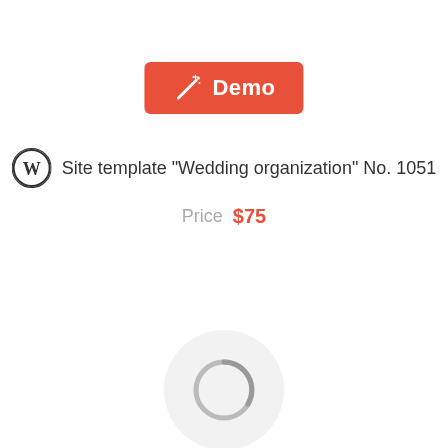[Figure (other): Red rounded rectangle button with magic wand/sparkle icon and white text 'Demo']
Site template "Wedding organization" No. 1051
Price  $75
[Figure (other): Loading spinner circle inside a light gray rounded circle background]